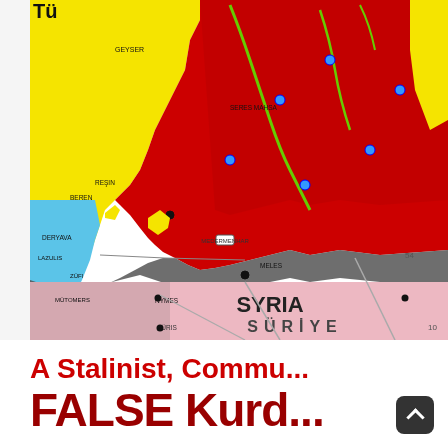[Figure (map): Political/territorial map showing Turkey and Syria region. Upper portion shows areas colored red (large region), yellow (western area), blue (southwestern strip), and dark/brown border zones. Blue dots mark cities. Green river lines visible. Lower portion shows pink area labeled SYRIA / SÜRİYE with road/city markings. Place names visible include GEYSER, SERES MAHSA, REŞIN, BEREN, LAZULIS, DERYAVA, and others.]
A Stalinist, Commu...
FALSE Kurdi...